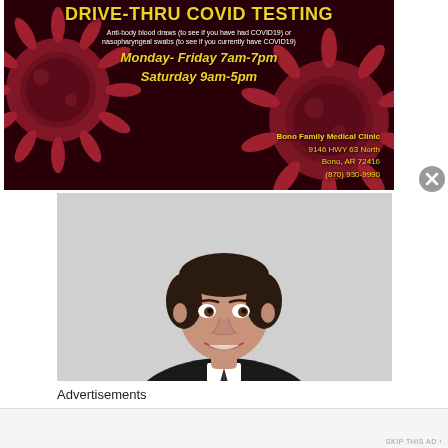[Figure (infographic): Drive-Thru COVID Testing advertisement banner with dark red background showing coronavirus particle images, yellow title text, white subtitle text, yellow hours and address details for Bono Family Medical Clinic]
[Figure (photo): Professional headshot of a middle-aged man in a dark suit, smiling, against a light gray background]
Advertisements